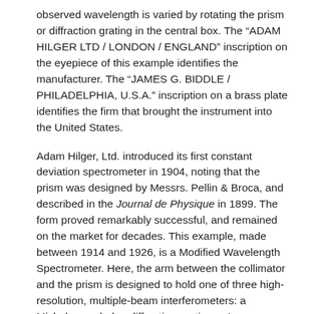observed wavelength is varied by rotating the prism or diffraction grating in the central box. The “ADAM HILGER LTD / LONDON / ENGLAND” inscription on the eyepiece of this example identifies the manufacturer. The “JAMES G. BIDDLE / PHILADELPHIA, U.S.A.” inscription on a brass plate identifies the firm that brought the instrument into the United States.
Adam Hilger, Ltd. introduced its first constant deviation spectrometer in 1904, noting that the prism was designed by Messrs. Pellin & Broca, and described in the Journal de Physique in 1899. The form proved remarkably successful, and remained on the market for decades. This example, made between 1914 and 1926, is a Modified Wavelength Spectrometer. Here, the arm between the collimator and the prism is designed to hold one of three high-resolution, multiple-beam interferometers: a Michelson echelon diffraction grating, a Lummer-Gehrcke parallel plate, and a